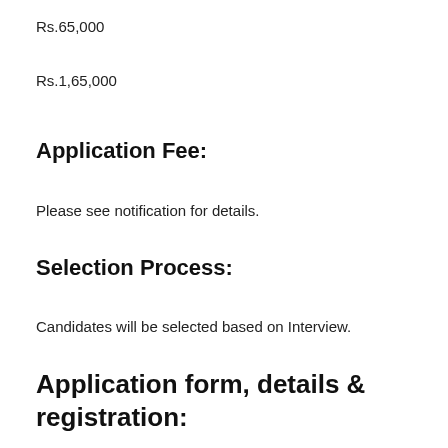Rs.65,000
Rs.1,65,000
Application Fee:
Please see notification for details.
Selection Process:
Candidates will be selected based on Interview.
Application form, details & registration: